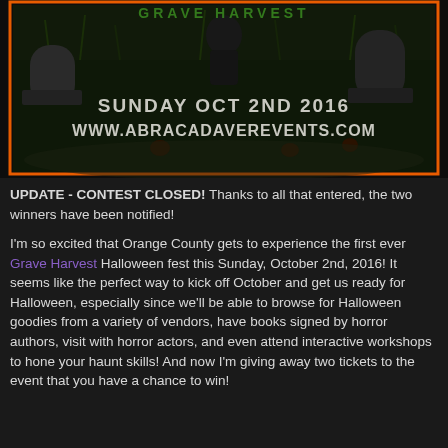[Figure (photo): Halloween themed photo of a graveyard with tombstones and grass at night, with text overlay reading 'SUNDAY OCT 2ND 2016 / WWW.ABRACADAVEREVENTS.COM', bordered with an orange frame]
UPDATE - CONTEST CLOSED! Thanks to all that entered, the two winners have been notified!
I'm so excited that Orange County gets to experience the first ever Grave Harvest Halloween fest this Sunday, October 2nd, 2016! It seems like the perfect way to kick off October and get us ready for Halloween, especially since we'll be able to browse for Halloween goodies from a variety of vendors, have books signed by horror authors, visit with horror actors, and even attend interactive workshops to hone your haunt skills! And now I'm giving away two tickets to the event that you have a chance to win!